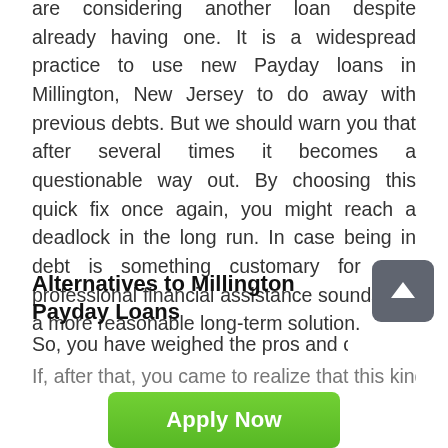The next piece of advice should resonate with you if you are considering another loan despite already having one. It is a widespread practice to use new Payday loans in Millington, New Jersey to do away with previous debts. But we should warn you that after several times it becomes a questionable way out. By choosing this quick fix once again, you might reach a deadlock in the long run. In case being in debt is something customary for you, professional financial assistance sounds like a more reasonable long-term solution.
Alternatives to Millington Payday Loans
So, you have weighed the pros and cons of a Payday
If, after that, you came to realize that this kind of loan is
Apply Now
Applying does NOT affect your credit score!
No credit check to apply.